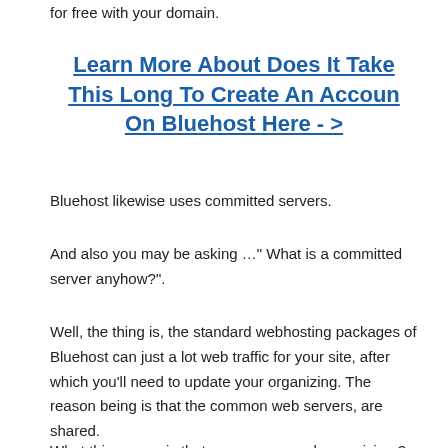for free with your domain.
Learn More About Does It Take This Long To Create An Accoun On Bluehost Here - >
Bluehost likewise uses committed servers.
And also you may be asking …" What is a committed server anyhow?".
Well, the thing is, the standard webhosting packages of Bluehost can just a lot web traffic for your site, after which you'll need to update your organizing. The reason being is that the common web servers, are shared.
What this means is that one server can be servicing 2 or even